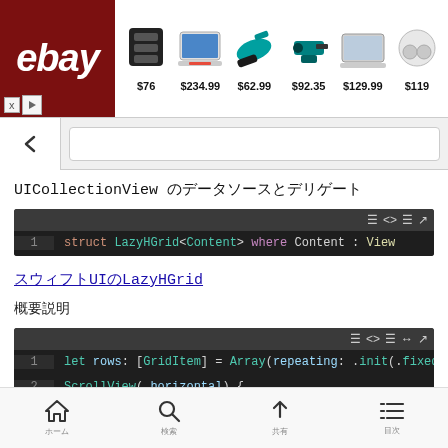[Figure (screenshot): eBay advertisement banner showing logo and products: speaker $76, laptop $234.99, saw $62.99, drill set $92.35, Chromebook $129.99, earbuds $119]
[Figure (screenshot): Browser navigation bar with back button and URL bar]
UICollectionView のデータソースとデリゲート
[Figure (screenshot): Code block: struct LazyHGrid<Content> where Content : View]
使い方はLazyHGrid
概要説明
[Figure (screenshot): Code block lines: 1: let rows: [GridItem] = Array(repeating: .init(.fixed(4  2: ScrollView(.horizontal) {  3: ...]
ホーム　　　　検索　　　　共有　　　　目次